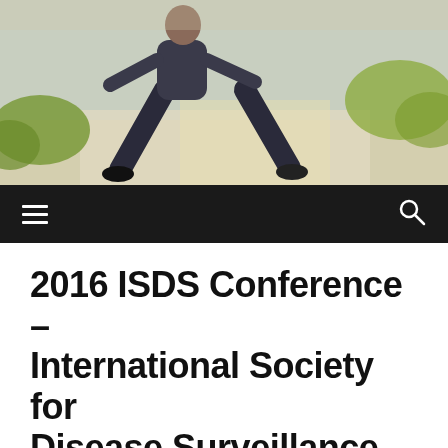[Figure (photo): Outdoor photo of a person stretching or exercising on a sidewalk/path, wearing dark athletic clothing and black shoes. Greenery and sunlight visible in background.]
Navigation bar with hamburger menu icon and search icon on dark background
2016 ISDS Conference – International Society for Disease Surveillance
October 22, 2016   0
Since 2001, individuals interested in sharing and learning emerging trends in surveillance research and practice have found the ISDS Annual Conference a unique forum to